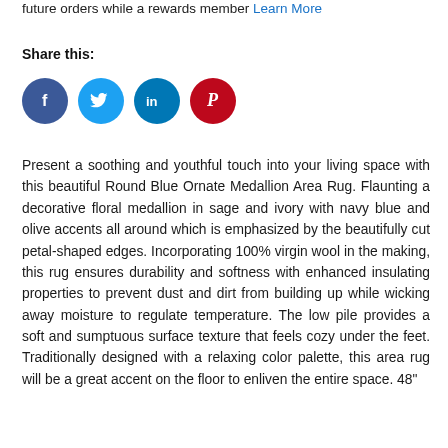future orders while a rewards member Learn More
Share this:
[Figure (other): Four social media share buttons: Facebook (blue circle with f), Twitter (light blue circle with bird), LinkedIn (blue circle with in), Pinterest (red circle with P)]
Present a soothing and youthful touch into your living space with this beautiful Round Blue Ornate Medallion Area Rug. Flaunting a decorative floral medallion in sage and ivory with navy blue and olive accents all around which is emphasized by the beautifully cut petal-shaped edges. Incorporating 100% virgin wool in the making, this rug ensures durability and softness with enhanced insulating properties to prevent dust and dirt from building up while wicking away moisture to regulate temperature. The low pile provides a soft and sumptuous surface texture that feels cozy under the feet. Traditionally designed with a relaxing color palette, this area rug will be a great accent on the floor to enliven the entire space. 48"